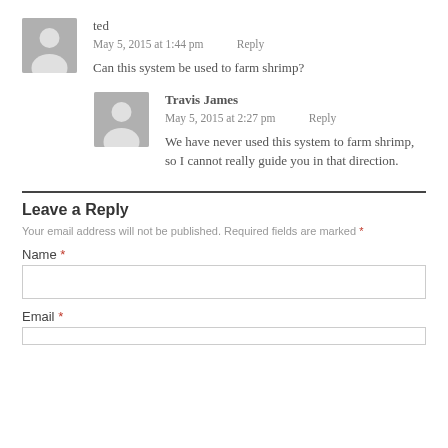ted
May 5, 2015 at 1:44 pm   Reply
Can this system be used to farm shrimp?
Travis James
May 5, 2015 at 2:27 pm   Reply
We have never used this system to farm shrimp, so I cannot really guide you in that direction.
Leave a Reply
Your email address will not be published. Required fields are marked *
Name *
Email *